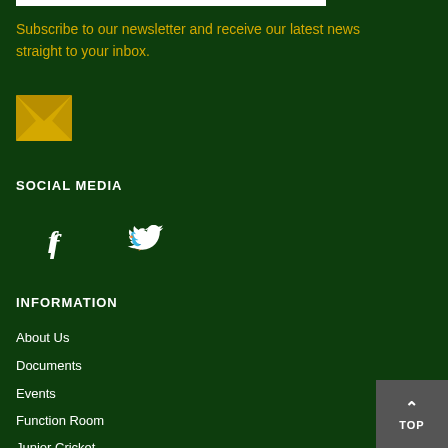Subscribe to our newsletter and receive our latest news straight to your inbox.
[Figure (illustration): Yellow envelope/mail icon]
SOCIAL MEDIA
[Figure (illustration): Facebook and Twitter social media icons in white]
INFORMATION
About Us
Documents
Events
Function Room
Junior Cricket